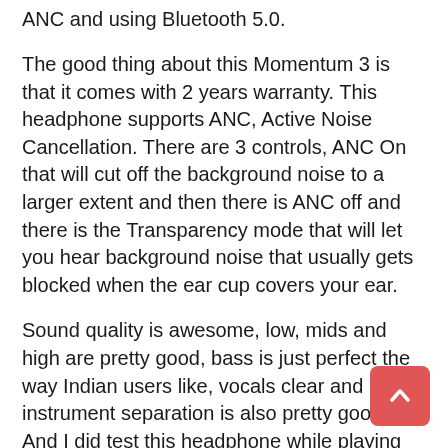ANC and using Bluetooth 5.0.
The good thing about this Momentum 3 is that it comes with 2 years warranty. This headphone supports ANC, Active Noise Cancellation. There are 3 controls, ANC On that will cut off the background noise to a larger extent and then there is ANC off and there is the Transparency mode that will let you hear background noise that usually gets blocked when the ear cup covers your ear.
Sound quality is awesome, low, mids and high are pretty good, bass is just perfect the way Indian users like, vocals clear and instrument separation is also pretty good. And I did test this headphone while playing PUBG, there was no lag.
Battery life is pretty good on a full charge you can expect up to 17 hours of non-stop usage.